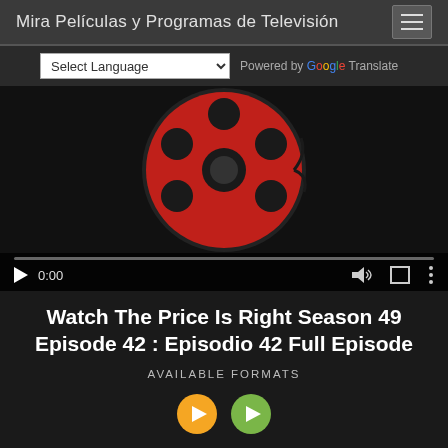Mira Películas y Programas de Televisión
Select Language — Powered by Google Translate
[Figure (screenshot): Embedded video player with a film reel icon (red reel on dark background), play button, time 0:00, volume and fullscreen controls, and a progress bar.]
Watch The Price Is Right Season 49 Episode 42 : Episodio 42 Full Episode
AVAILABLE FORMATS